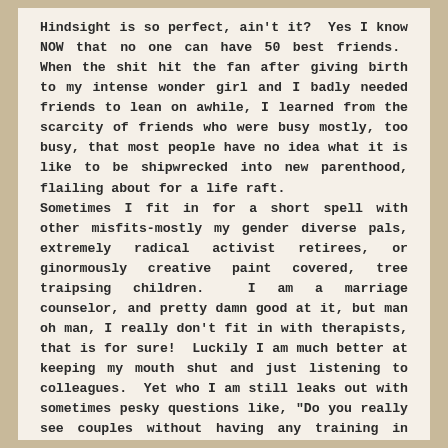Hindsight is so perfect, ain't it? Yes I know NOW that no one can have 50 best friends. When the shit hit the fan after giving birth to my intense wonder girl and I badly needed friends to lean on awhile, I learned from the scarcity of friends who were busy mostly, too busy, that most people have no idea what it is like to be shipwrecked into new parenthood, flailing about for a life raft. Sometimes I fit in for a short spell with other misfits-mostly my gender diverse pals, extremely radical activist retirees, or ginormously creative paint covered, tree traipsing children. I am a marriage counselor, and pretty damn good at it, but man oh man, I really don't fit in with therapists, that is for sure! Luckily I am much better at keeping my mouth shut and just listening to colleagues. Yet who I am still leaks out with sometimes pesky questions like, "Do you really see couples without having any training in marriage, or knowledge in the world's go to research on marriage and divorce, the Gottman Insitute? So